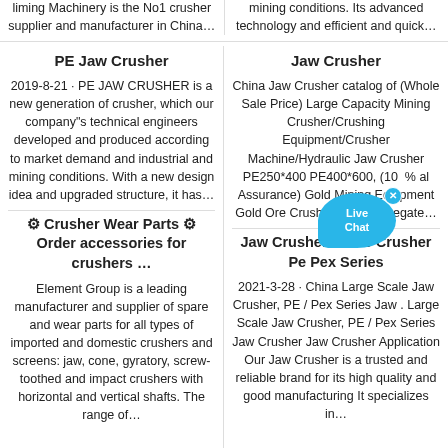liming Machinery is the No1 crusher supplier and manufacturer in China…
mining conditions. Its advanced technology and efficient and quick…
PE Jaw Crusher
Jaw Crusher
2019-8-21 · PE JAW CRUSHER is a new generation of crusher, which our company"s technical engineers developed and produced according to market demand and industrial and mining conditions. With a new design idea and upgraded structure, it has…
China Jaw Crusher catalog of (Whole Sale Price) Large Capacity Mining Crusher/Crushing Equipment/Crusher Machine/Hydraulic Jaw Crusher PE250*400 PE400*600, (100% al Assurance) Gold Mining Equipment Gold Ore Crushing and Aggregate…
⚙ Crusher Wear Parts ⚙ Order accessories for crushers …
Jaw Crusher Stone Crusher Pe Pex Series
Element Group is a leading manufacturer and supplier of spare and wear parts for all types of imported and domestic crushers and screens: jaw, cone, gyratory, screw-toothed and impact crushers with horizontal and vertical shafts. The range of…
2021-3-28 · China Large Scale Jaw Crusher, PE / Pex Series Jaw . Large Scale Jaw Crusher, PE / Pex Series Jaw Crusher Jaw Crusher Application Our Jaw Crusher is a trusted and reliable brand for its high quality and good manufacturing It specializes in…